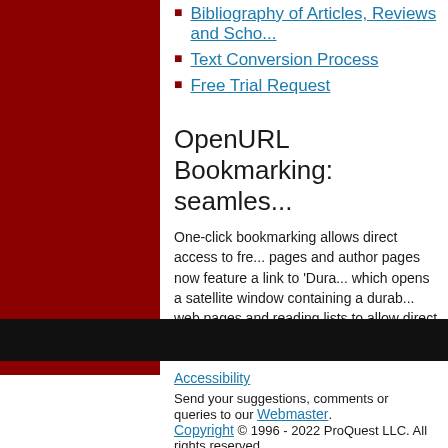Bibliography of Articles, Reviews and Scho...
Text Conversion Process
Free Trial Request
OpenURL Bookmarking: seamles...
One-click bookmarking allows direct access to fre... pages and author pages now feature a link to 'Dura... which opens a satellite window containing a durab... web pages and reading lists to allow direct linking ... choose to send records by email from your Marked... you select the HTML format option when sending y...
Remote access
The Chadwyck-Healey Literature Collections can b... day, provided that the total number of users is not ... authentication. Other forms of password access ar... further information.
Accessibility
Send your suggestions, comments or queries to our Webmaster.
Copyright © 1996 - 2022 ProQuest LLC. All rights reserved.